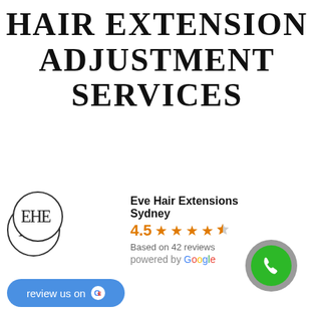HAIR EXTENSION ADJUSTMENT SERVICES
[Figure (logo): Eve Hair Extensions Sydney Google review widget with logo, 4.5 star rating, 42 reviews, powered by Google badge, and review us on Google button]
[Figure (other): Green phone call button with gray shadow circle in bottom right corner]